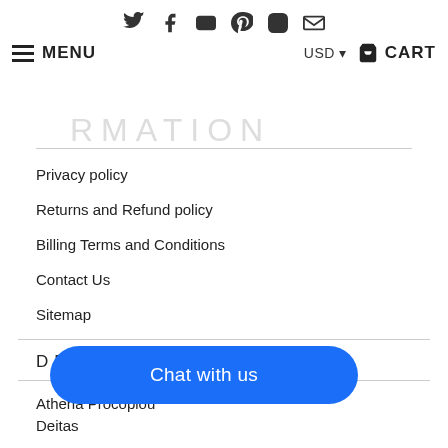Social icons: Twitter, Facebook, YouTube, Pinterest, Instagram, Email | MENU | USD | CART
INFORMATION
Privacy policy
Returns and Refund policy
Billing Terms and Conditions
Contact Us
Sitemap
DESIGNERS
Athena Procopiou
Deitas
Chat with us